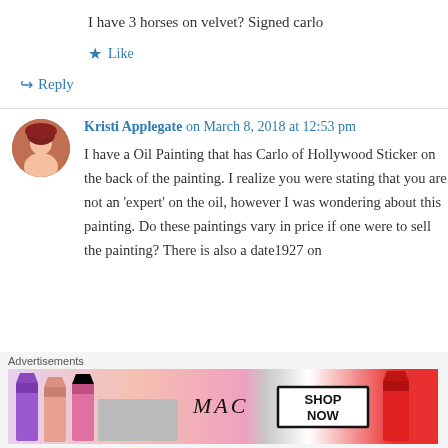I have 3 horses on velvet? Signed carlo
★ Like
↪ Reply
Kristi Applegate on March 8, 2018 at 12:53 pm
I have a Oil Painting that has Carlo of Hollywood Sticker on the back of the painting. I realize you were stating that you are not an 'expert' on the oil, however I was wondering about this painting. Do these paintings vary in price if one were to sell the painting? There is also a date1927 on
Advertisements
[Figure (photo): MAC cosmetics advertisement showing lipsticks with SHOP NOW button]